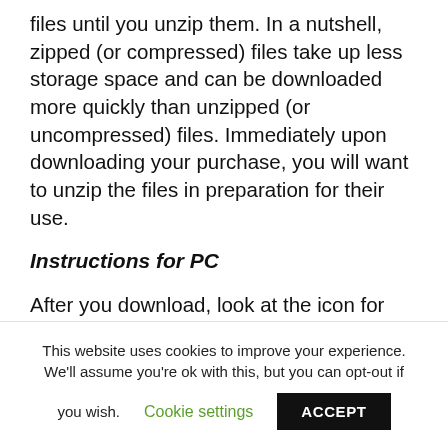files until you unzip them. In a nutshell, zipped (or compressed) files take up less storage space and can be downloaded more quickly than unzipped (or uncompressed) files. Immediately upon downloading your purchase, you will want to unzip the files in preparation for their use.
Instructions for PC
After you download, look at the icon for
This website uses cookies to improve your experience. We'll assume you're ok with this, but you can opt-out if you wish. Cookie settings ACCEPT